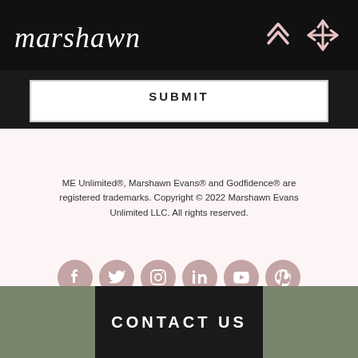[Figure (logo): Marshawn cursive script logo in white on black header bar with pink navigation arrow icons]
SUBMIT
ME Unlimited®, Marshawn Evans® and Godfidence® are registered trademarks. Copyright © 2022 Marshawn Evans Unlimited LLC. All rights reserved.
[Figure (infographic): Seven social media icons (Facebook, Twitter, Instagram, LinkedIn, YouTube, Pinterest, and one group/meetup icon) as pink/mauve circles arranged in two rows]
CONTACT US